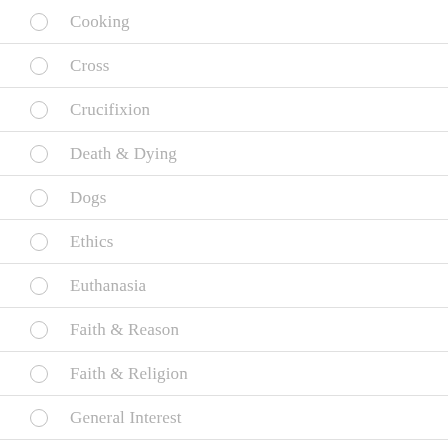Cooking
Cross
Crucifixion
Death & Dying
Dogs
Ethics
Euthanasia
Faith & Reason
Faith & Religion
General Interest
G…